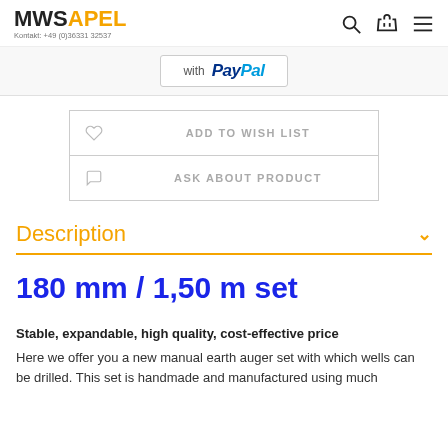MWSAPEL Kontakt: +49 (0)36331 32537
[Figure (screenshot): PayPal checkout button showing 'with PayPal' text]
ADD TO WISH LIST
ASK ABOUT PRODUCT
Description
180 mm / 1,50 m set
Stable, expandable, high quality, cost-effective price
Here we offer you a new manual earth auger set with which wells can be drilled. This set is handmade and manufactured using much